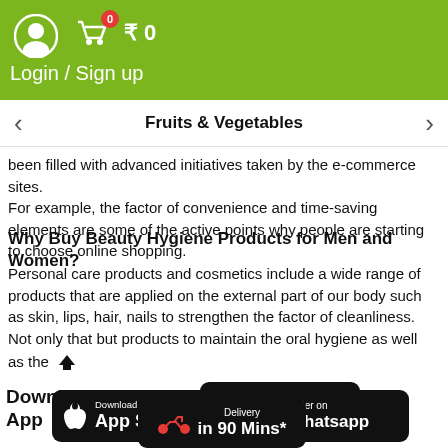Login / Sign up  ₹ 0
Fruits & Vegetables
been filled with advanced initiatives taken by the e-commerce sites. For example, the factor of convenience and time-saving elements are some of the active points why people are starting to choose online shopping.
Why Buy Beauty Hygiene Products for Men and Women?
Personal care products and cosmetics include a wide range of products that are applied on the external part of our body such as skin, lips, hair, nails to strengthen the factor of cleanliness. Not only that but products to maintain the oral hygiene as well as the
[Figure (screenshot): Download Grocio App section with Google Play, App Store, Order on Whatsapp, and Delivery in 90 Mins buttons]